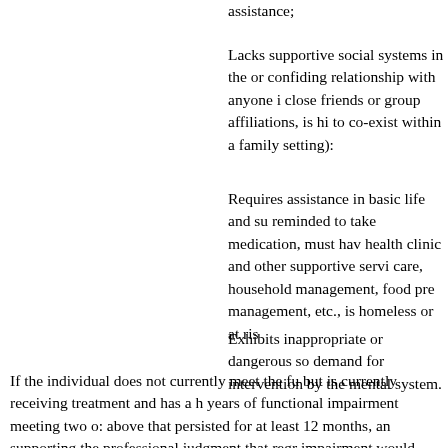assistance;
Lacks supportive social systems in the or confiding relationship with anyone i close friends or group affiliations, is hi to co-exist within a family setting):
Requires assistance in basic life and su reminded to take medication, must hav health clinic and other supportive servi care, household management, food pre management, etc., is homeless or at ris
Exhibits inappropriate or dangerous so demand for intervention by the mental system.
If the individual does not currently meet the fu but is currently receiving treatment and has a h years of functional impairment meeting two o: above that persisted for at least 12 months, an supporting the professional judgment that regr impairment would occur without continuing tr will be determined to have met the functional